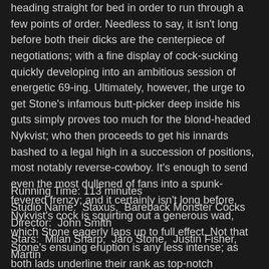heading straight for bed in order to run through a few points of order. Needless to say, it isn't long before both their dicks are the centerpiece of negotiations; with a fine display of cock-sucking quickly developing into an ambitious session of energetic 69-ing. Ultimately, however, the urge to get Stone's infamous butt-picker deep inside his guts simply proves too much for the blond-headed Nykvist; who then proceeds to get his innards bashed to a legal high in a succession of positions, most notably reverse-cowboy. It's enough to send even the most dullened of fans into a spunk-fevered frenzy; and it certainly isn't long before Nykvist's cock is squirting out a generous wad, which Stone eagerly laps up to full effect. Not that Stone's ensuing eruption is any less intense; as both lads underline their rank as top-notch performers by exchanging a final devilishly jizz-laden smooch! Plus, three more scenes sure to please.
Running Time: 113 minutes
Studio Name:  Staxus,  Bareback Monster Cocks
Director:  John Smith
Stars:  Milan Sharp,  Jaro Stone,  Justin Fisher,  Martin